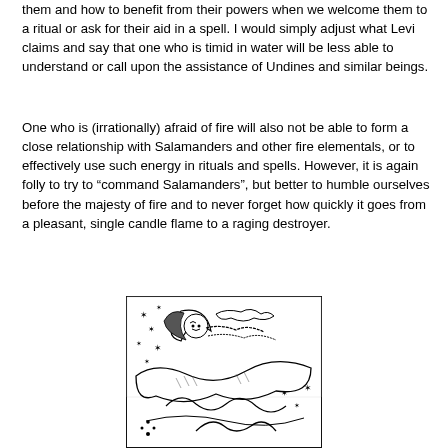them and how to benefit from their powers when we welcome them to a ritual or ask for their aid in a spell. I would simply adjust what Levi claims and say that one who is timid in water will be less able to understand or call upon the assistance of Undines and similar beings.
One who is (irrationally) afraid of fire will also not be able to form a close relationship with Salamanders and other fire elementals, or to effectively use such energy in rituals and spells. However, it is again folly to try to “command Salamanders”, but better to humble ourselves before the majesty of fire and to never forget how quickly it goes from a pleasant, single candle flame to a raging destroyer.
[Figure (illustration): Black and white woodcut-style illustration showing a crescent moon with a face, stars, clouds, and serpentine or wave-like forms with decorative scrollwork. Medieval or occult woodcut style.]